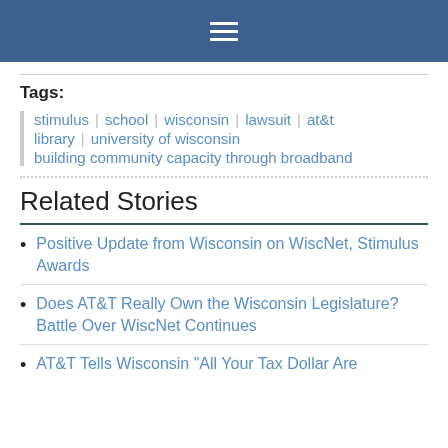☰ (hamburger menu icon)
Tags:
stimulus | school | wisconsin | lawsuit | at&t
library | university of wisconsin
building community capacity through broadband
Related Stories
Positive Update from Wisconsin on WiscNet, Stimulus Awards
Does AT&T Really Own the Wisconsin Legislature? Battle Over WiscNet Continues
AT&T Tells Wisconsin "All Your Tax Dollar Are